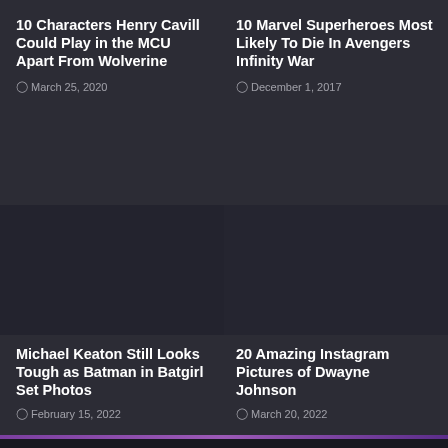10 Characters Henry Cavill Could Play in the MCU Apart From Wolverine
March 25, 2020
[Figure (photo): Dark placeholder image for article 1]
10 Marvel Superheroes Most Likely To Die In Avengers Infinity War
December 1, 2017
[Figure (photo): Dark placeholder image for article 2]
Michael Keaton Still Looks Tough as Batman in Batgirl Set Photos
February 15, 2022
20 Amazing Instagram Pictures of Dwayne Johnson
March 20, 2022
[Figure (photo): Dark cinematic image at bottom of page]